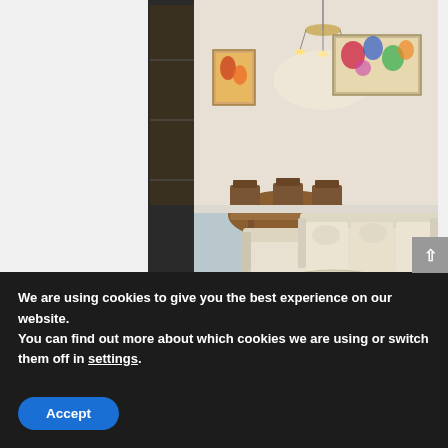[Figure (photo): Interior photo of a living room viewed from the front door. Shows hardwood floors, a cream/beige sofa, armchair, glass coffee table, wooden dining table and chairs, chandelier, and two framed artworks on the walls.]
Living room – view from the front door. Beautiful engineered hardwood floos, new baseboard, and fresh paint!
We are using cookies to give you the best experience on our website.
You can find out more about which cookies we are using or switch them off in settings.
Accept